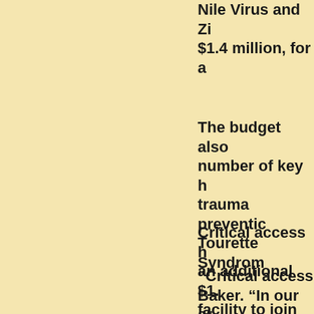Nile Virus and Zi $1.4 million, for a
The budget also number of key he trauma preventio Tourette Syndrom
Critical access h an additional $1. facility to join th Wellsboro.
“Critical access Baker. “In our ar serve residents